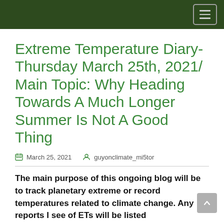Extreme Temperature Diary- Thursday March 25th, 2021/ Main Topic: Why Heading Towards A Much Longer Summer Is Not A Good Thing
March 25, 2021   guyonclimate_mi5tor
The main purpose of this ongoing blog will be to track planetary extreme or record temperatures related to climate change. Any reports I see of ETs will be listed